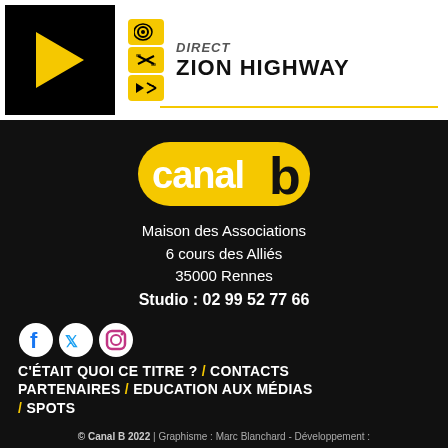[Figure (logo): Play button (black box with yellow triangle) and audio controls]
DIRECT
ZION HIGHWAY
[Figure (logo): Canal B logo - yellow rounded badge with 'canal b' text in white and black]
Maison des Associations
6 cours des Alliés
35000 Rennes
Studio : 02 99 52 77 66
[Figure (other): Social media icons: Facebook, Twitter, Instagram]
C'ÉTAIT QUOI CE TITRE ? / CONTACTS PARTENAIRES / EDUCATION AUX MÉDIAS / SPOTS
Canal B est une radio FERAROCK
© Canal B 2022 | Graphisme : Marc Blanchard - Développement :